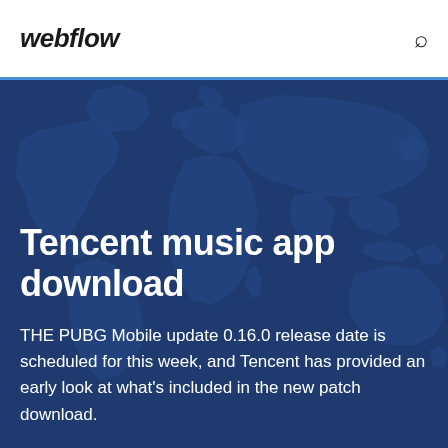webflow
Tencent music app download
THE PUBG Mobile update 0.16.0 release date is scheduled for this week, and Tencent has provided an early look at what's included in the new patch download.
[Figure (illustration): Dark blue world map background illustration used as hero image background]